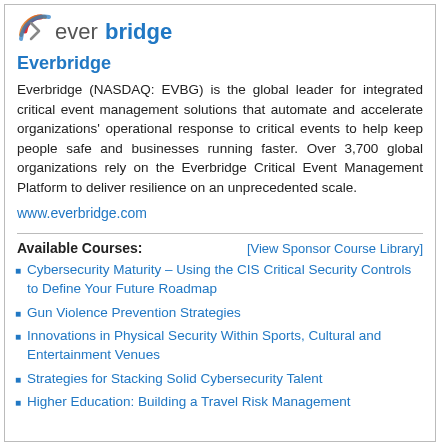[Figure (logo): Everbridge logo with stylized icon and bold blue text]
Everbridge
Everbridge (NASDAQ: EVBG) is the global leader for integrated critical event management solutions that automate and accelerate organizations' operational response to critical events to help keep people safe and businesses running faster. Over 3,700 global organizations rely on the Everbridge Critical Event Management Platform to deliver resilience on an unprecedented scale.
www.everbridge.com
Available Courses:     [View Sponsor Course Library]
Cybersecurity Maturity – Using the CIS Critical Security Controls to Define Your Future Roadmap
Gun Violence Prevention Strategies
Innovations in Physical Security Within Sports, Cultural and Entertainment Venues
Strategies for Stacking Solid Cybersecurity Talent
Higher Education: Building a Travel Risk Management